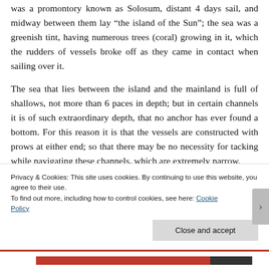was a promontory known as Solosum, distant 4 days sail, and midway between them lay “the island of the Sun”; the sea was a greenish tint, having numerous trees (coral) growing in it, which the rudders of vessels broke off as they came in contact when sailing over it.
The sea that lies between the island and the mainland is full of shallows, not more than 6 paces in depth; but in certain channels it is of such extraordinary depth, that no anchor has ever found a bottom. For this reason it is that the vessels are constructed with prows at either end; so that there may be no necessity for tacking while navigating these channels, which are extremely narrow.
Privacy & Cookies: This site uses cookies. By continuing to use this website, you agree to their use.
To find out more, including how to control cookies, see here: Cookie Policy